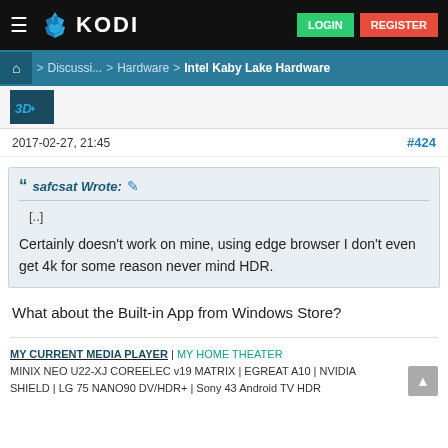KODI — LOGIN REGISTER
Home > Discussi... > Hardware > Intel Kaby Lake Hardware
[Figure (screenshot): Avatar image with 3D logo]
2017-02-27, 21:45
#424
safcsat Wrote: [..]
Certainly doesn't work on mine, using edge browser I don't even get 4k for some reason never mind HDR.
What about the Built-in App from Windows Store?
MY CURRENT MEDIA PLAYER | MY HOME THEATER
MINIX NEO U22-XJ COREELEC v19 MATRIX | EGREAT A10 | NVIDIA SHIELD | LG 75 NANO90 DV/HDR+ | Sony 43 Android TV HDR